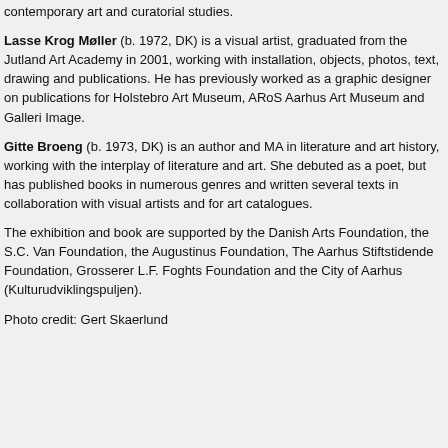contemporary art and curatorial studies.
Lasse Krog Møller (b. 1972, DK) is a visual artist, graduated from the Jutland Art Academy in 2001, working with installation, objects, photos, text, drawing and publications. He has previously worked as a graphic designer on publications for Holstebro Art Museum, ARoS Aarhus Art Museum and Galleri Image.
Gitte Broeng (b. 1973, DK) is an author and MA in literature and art history, working with the interplay of literature and art. She debuted as a poet, but has published books in numerous genres and written several texts in collaboration with visual artists and for art catalogues.
The exhibition and book are supported by the Danish Arts Foundation, the S.C. Van Foundation, the Augustinus Foundation, The Aarhus Stiftstidende Foundation, Grosserer L.F. Foghts Foundation and the City of Aarhus (Kulturudviklingspuljen).
Photo credit: Gert Skaerlund